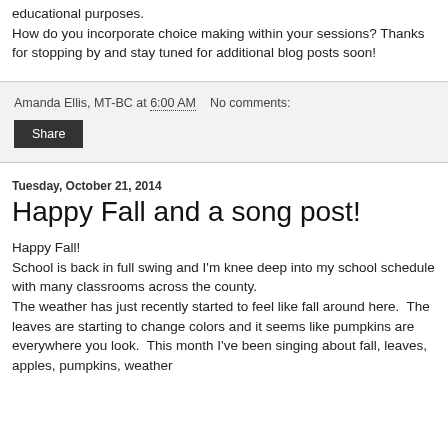educational purposes. How do you incorporate choice making within your sessions? Thanks for stopping by and stay tuned for additional blog posts soon!
Amanda Ellis, MT-BC at 6:00 AM   No comments:
Share
Tuesday, October 21, 2014
Happy Fall and a song post!
Happy Fall!
School is back in full swing and I'm knee deep into my school schedule with many classrooms across the county.
The weather has just recently started to feel like fall around here.  The leaves are starting to change colors and it seems like pumpkins are everywhere you look.  This month I've been singing about fall, leaves, apples, pumpkins, weather